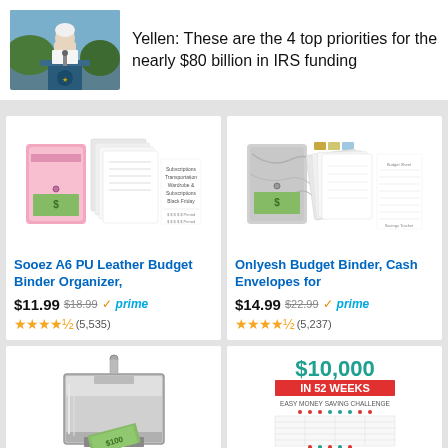[Figure (photo): Photo of Janet Yellen speaking at a podium outdoors]
Yellen: These are the 4 top priorities for the nearly $80 billion in IRS funding
[Figure (photo): Pink A6 PU Leather Budget Binder Organizer product image]
Sooez A6 PU Leather Budget Binder Organizer,
$11.99 $18.99 ✓prime ★★★★½ (5,535)
[Figure (photo): Marble Budget Binder Cash Envelopes product image]
Onlyesh Budget Binder, Cash Envelopes for
$14.99 $22.99 ✓prime ★★★★½ (5,237)
[Figure (photo): Metal money box with cash being inserted]
[Figure (photo): $10,000 in 52 weeks easy money saving challenge chart]